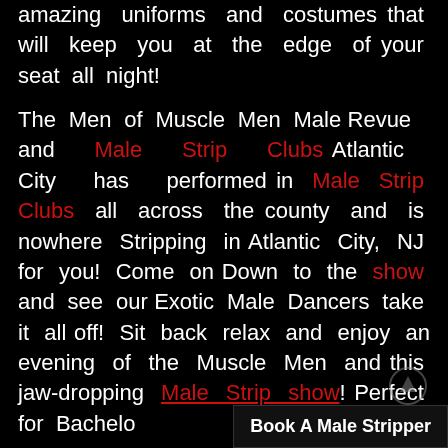amazing uniforms and costumes that will keep you at the edge of your seat all night!
The Men of Muscle Men Male Revue and Male Strip Clubs Atlantic City has performed in Male Strip Clubs all across the county and is nowhere Stripping in Atlantic City, NJ for you! Come on Down to the show and see our Exotic Male Dancers take it all off! Sit back relax and enjoy an evening of the Muscle Men and this jaw-dropping Male Strip show! Perfect for Bachelo...
Book A Male Stripper